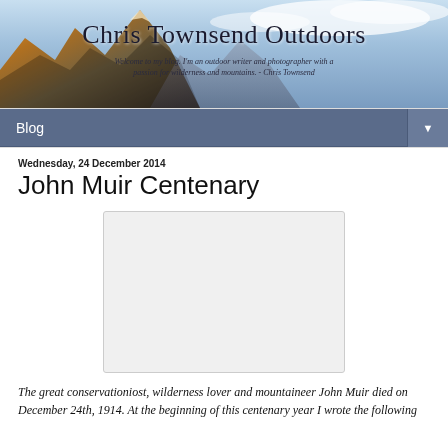[Figure (photo): Blog banner header with mountain landscape photo and text 'Chris Townsend Outdoors' with subtitle 'Welcome to my blog. I'm an outdoor writer and photographer with a passion for wilderness and mountains. - Chris Townsend']
Blog ▼
Wednesday, 24 December 2014
John Muir Centenary
[Figure (photo): Blank/loading image placeholder (white rectangle with light border)]
The great conservationiost, wilderness lover and mountaineer John Muir died on December 24th, 1914. At the beginning of this centenary year I wrote the following